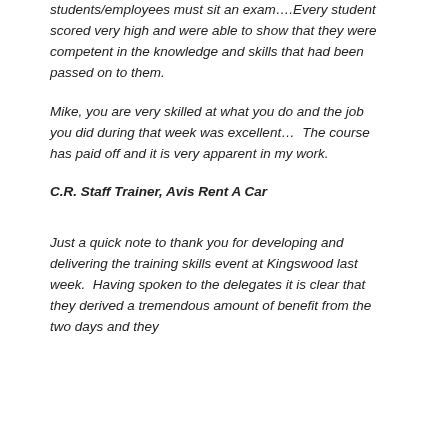students/employees must sit an exam….Every student scored very high and were able to show that they were competent in the knowledge and skills that had been passed on to them.
Mike, you are very skilled at what you do and the job you did during that week was excellent…  The course has paid off and it is very apparent in my work.
C.R. Staff Trainer, Avis Rent A Car
Just a quick note to thank you for developing and delivering the training skills event at Kingswood last week.  Having spoken to the delegates it is clear that they derived a tremendous amount of benefit from the two days and they